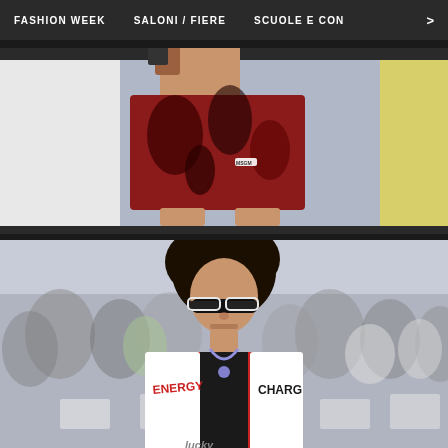FASHION WEEK   SALONI / FIERE   SCUOLE E CON   >
[Figure (photo): Fashion model wearing red and black patterned shorts on a runway, cropped to torso and legs, blue background]
[Figure (photo): Male fashion model with curly hair and dark sunglasses walking a runway wearing a red and white racing-style jacket with 'ENERGY' and 'CHARG' text, audience seated in background]
Vota questa sfilata
★ ★ ★ ★ ★